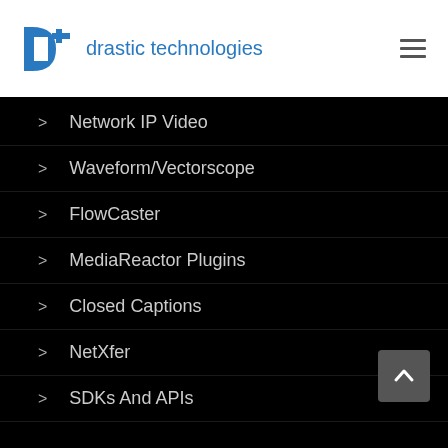drastic technologies
Network IP Video
Waveform/Vectorscope
FlowCaster
MediaReactor Plugins
Closed Captions
NetXfer
SDKs And APIs
Support
Downloads